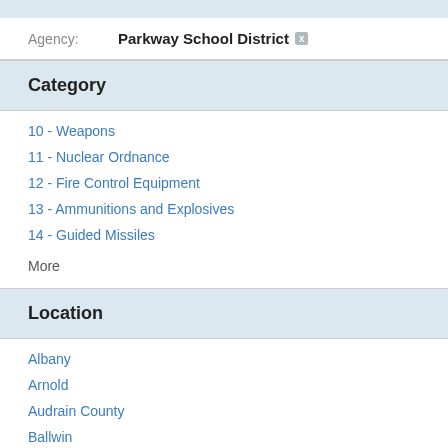Agency: Parkway School District
Category
10 - Weapons
11 - Nuclear Ordnance
12 - Fire Control Equipment
13 - Ammunitions and Explosives
14 - Guided Missiles
More
Location
Albany
Arnold
Audrain County
Ballwin
Belton
More